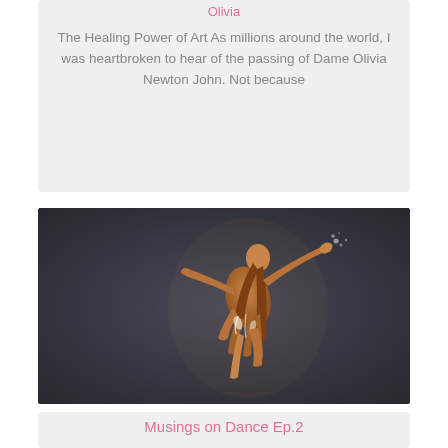Olivia
The Healing Power of Art As millions around the world, I was heartbroken to hear of the passing of Dame Olivia Newton John. Not because
[Figure (photo): A dancer in a feathered costume leaping against a dark grey background, arms extended, one knee raised.]
Musings on Dance Ep.2